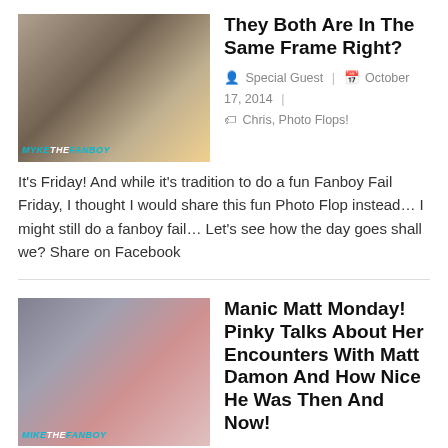[Figure (photo): Thumbnail photo of a man's face close up, with a bus or tram in background, watermark 'MYKE THE FANBOY' at bottom]
They Both Are In The Same Frame Right?
Special Guest  |  October 17, 2014  |  Chris, Photo Flops!
It’s Friday! And while it’s tradition to do a fun Fanboy Fail Friday, I thought I would share this fun Photo Flop instead… I might still do a fanboy fail… Let’s see how the day goes shall we? Share on Facebook
[Figure (photo): Thumbnail photo of Matt Damon with a woman with pink hair, watermark 'MIKE THE FANBOY' at bottom]
Manic Matt Monday! Pinky Talks About Her Encounters With Matt Damon And How Nice He Was Then And Now! Autograph Goodness!
Pinky LoveJoy-Coogan  |  September 15, 2014  |  Fanboying!, Manic Mondays!, Pretty In Pinky